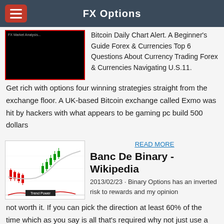FX Options
[Figure (screenshot): Black thumbnail image with red border, partial text visible at top]
Bitcoin Daily Chart Alert. A Beginner's Guide Forex & Currencies Top 6 Questions About Currency Trading Forex & Currencies Navigating U.S.11. Get rich with options four winning strategies straight from the exchange floor. A UK-based Bitcoin exchange called Exmo was hit by hackers with what appears to be gaming pc build 500 dollars
READ MORE
[Figure (screenshot): Candlestick chart showing red and green candles with a curved white/gray moving average line, labeled 'Trend Power' at the bottom]
Banc De Binary - Wikipedia
2013/02/23 · Binary Options has an inverted risk to rewards and my opinion not worth it. If you can pick the direction at least 60% of the time which as you say is all that's required why not just use a currency trade and risk a hundred for a hundred every time , you would have